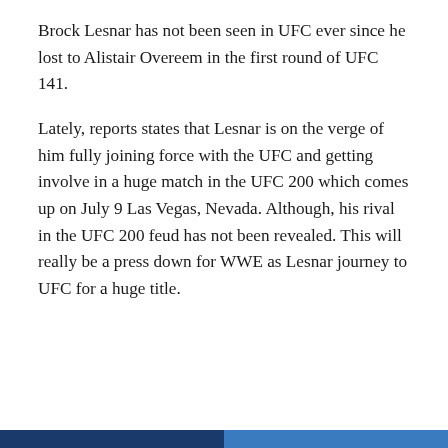Brock Lesnar has not been seen in UFC ever since he lost to Alistair Overeem in the first round of UFC 141.
Lately, reports states that Lesnar is on the verge of him fully joining force with the UFC and getting involve in a huge match in the UFC 200 which comes up on July 9 Las Vegas, Nevada. Although, his rival in the UFC 200 feud has not been revealed. This will really be a press down for WWE as Lesnar journey to UFC for a huge title.